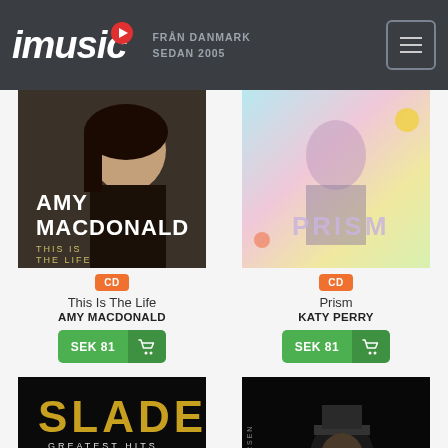imusic — FRÅN DANMARK SEDAN 2005
[Figure (photo): Amy Macdonald - This Is The Life album cover]
[Figure (photo): Katy Perry - Prism album cover]
CD
This Is The Life
AMY MACDONALD
SEK 81
CD
Prism
KATY PERRY
SEK 81
[Figure (photo): Slade - Greatest Hits Feel the Noize album cover]
[Figure (photo): Kim Larsen album cover]